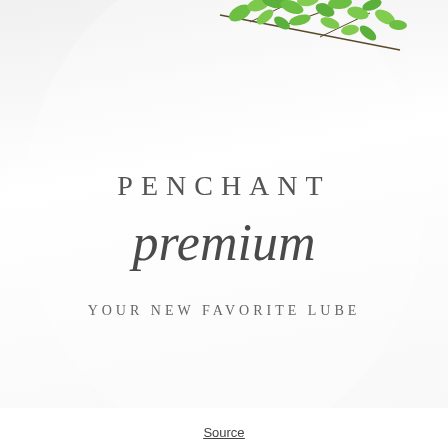[Figure (photo): Close-up photograph of a white product bottle/container labeled 'PENCHANT premium — YOUR NEW FAVORITE LUBE' with green leaf botanical illustration at the top.]
Source